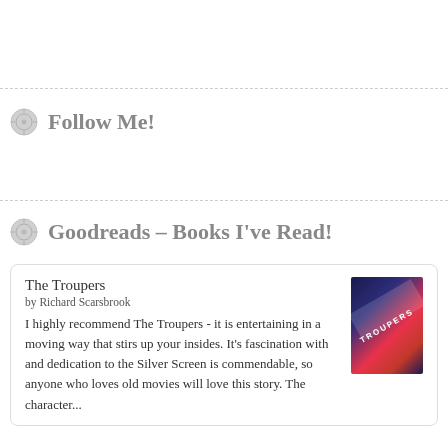Follow Me!
Goodreads – Books I've Read!
The Troupers
by Richard Scarsbrook
I highly recommend The Troupers - it is entertaining in a moving way that stirs up your insides. It's fascination with and dedication to the Silver Screen is commendable, so anyone who loves old movies will love this story. The character...